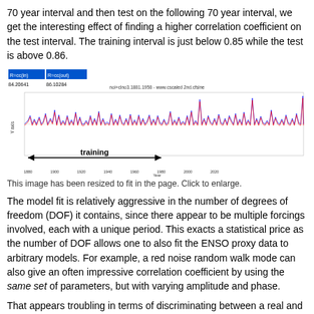70 year interval and then test on the following 70 year interval, we get the interesting effect of finding a higher correlation coefficient on the test interval. The training interval is just below 0.85 while the test is above 0.86.
[Figure (continuous-plot): Time series line chart showing training and test intervals with red and blue waveforms. Labels show R=cc(in) and R=cc(out) values of 84.20641 and 86.10284. Title text: noi+clno3.1881.1958 - www.cscaled 2nd.cfsine. Training arrow spans approximately first half of x-axis. X-axis shows years from ~1880s to ~2010s.]
This image has been resized to fit in the page. Click to enlarge.
The model fit is relatively aggressive in the number of degrees of freedom (DOF) it contains, since there appear to be multiple forcings involved, each with a unique period. This exacts a statistical price as the number of DOF allows one to also fit the ENSO proxy data to arbitrary models. For example, a red noise random walk mode can also give an often impressive correlation coefficient by using the same set of parameters, but with varying amplitude and phase.
That appears troubling in terms of discriminating between a real and a coincidental fit, but if we look closely at the result of out-of-band tests on trained fits to red noise models, they rapidly become uncorrelated. Below are the statistics for the "in" training run and the "out" test or validation. Even